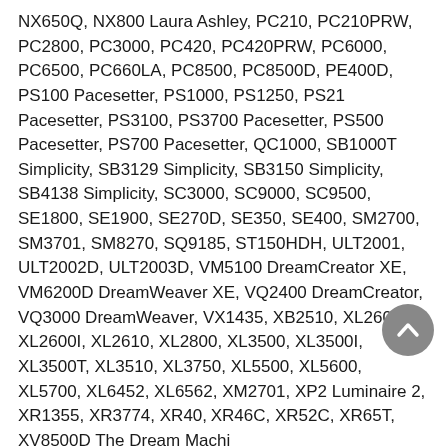NX650Q, NX800 Laura Ashley, PC210, PC210PRW, PC2800, PC3000, PC420, PC420PRW, PC6000, PC6500, PC660LA, PC8500, PC8500D, PE400D, PS100 Pacesetter, PS1000, PS1250, PS21 Pacesetter, PS3100, PS3700 Pacesetter, PS500 Pacesetter, PS700 Pacesetter, QC1000, SB1000T Simplicity, SB3129 Simplicity, SB3150 Simplicity, SB4138 Simplicity, SC3000, SC9000, SC9500, SE1800, SE1900, SE270D, SE350, SE400, SM2700, SM3701, SM8270, SQ9185, ST150HDH, ULT2001, ULT2002D, ULT2003D, VM5100 DreamCreator XE, VM6200D DreamWeaver XE, VQ2400 DreamCreator, VQ3000 DreamWeaver, VX1435, XB2510, XL2600, XL2600I, XL2610, XL2800, XL3500, XL3500I, XL3500T, XL3510, XL3750, XL5500, XL5600, XL5700, XL6452, XL6562, XM2701, XP2 Luminaire 2, XR1355, XR3774, XR40…, XR46C, XR52C, XR65T, XV8500D The Dream Machi…
Guaranteed to fit Pfaff Sewing Machine Models:
Smart 200C